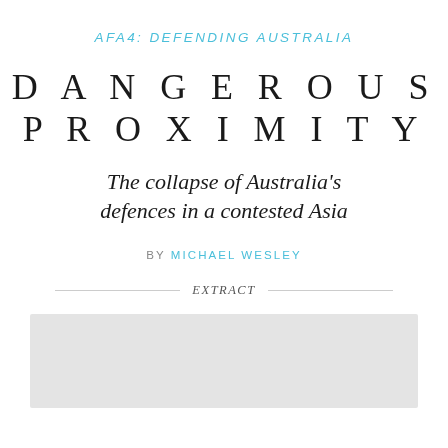AFA4: DEFENDING AUSTRALIA
DANGEROUS PROXIMITY
The collapse of Australia's defences in a contested Asia
BY MICHAEL WESLEY
EXTRACT
[Figure (other): Light grey rectangular box at bottom of page, representing a cover image or placeholder]